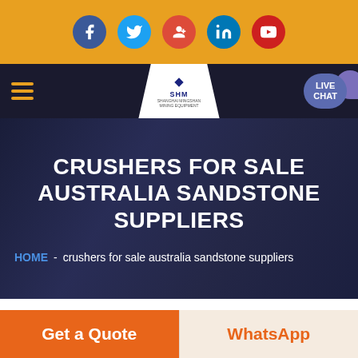[Figure (screenshot): Social media icon bar with Facebook, Twitter, Google+, LinkedIn, YouTube circular icons on gold/amber background]
[Figure (screenshot): Navigation bar with hamburger menu, SHM logo in white triangular banner, and Live Chat button on dark navy background]
CRUSHERS FOR SALE AUSTRALIA SANDSTONE SUPPLIERS
HOME - crushers for sale australia sandstone suppliers
[Figure (photo): Partial photo strip showing documents/papers on a desk]
Get a Quote
WhatsApp